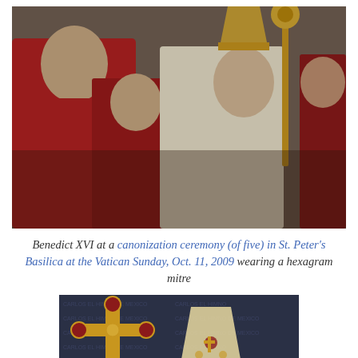[Figure (photo): Pope Benedict XVI in white papal vestments and mitre holding a golden staff, surrounded by cardinals in red robes at a ceremony inside St. Peter's Basilica]
Benedict XVI at a canonization ceremony (of five) in St. Peter's Basilica at the Vatican Sunday, Oct. 11, 2009 wearing a hexagram mitre
[Figure (photo): A decorative golden cross and an ornate papal mitre adorned with gemstones and religious imagery, displayed against a dark background with repeated text]